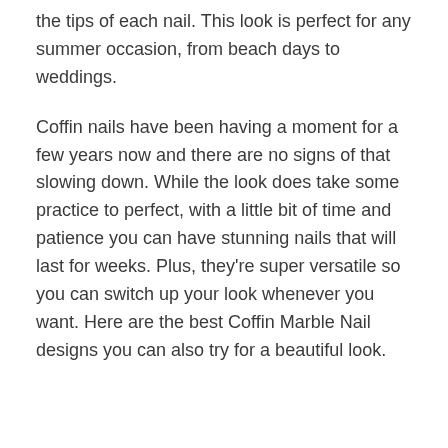the tips of each nail. This look is perfect for any summer occasion, from beach days to weddings.
Coffin nails have been having a moment for a few years now and there are no signs of that slowing down. While the look does take some practice to perfect, with a little bit of time and patience you can have stunning nails that will last for weeks. Plus, they're super versatile so you can switch up your look whenever you want. Here are the best Coffin Marble Nail designs you can also try for a beautiful look.